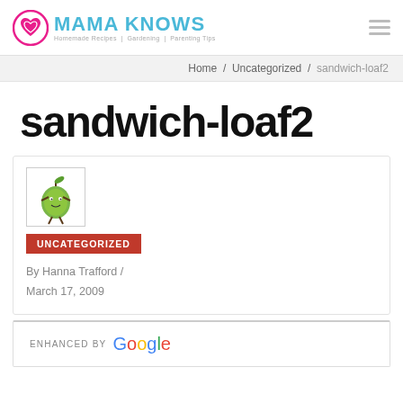MAMA KNOWS — Homemade Recipes | Gardening | Parenting Tips
Home / Uncategorized / sandwich-loaf2
sandwich-loaf2
[Figure (illustration): Small avatar/icon image showing a stylized green character on white background]
UNCATEGORIZED
By Hanna Trafford / March 17, 2009
ENHANCED BY Google